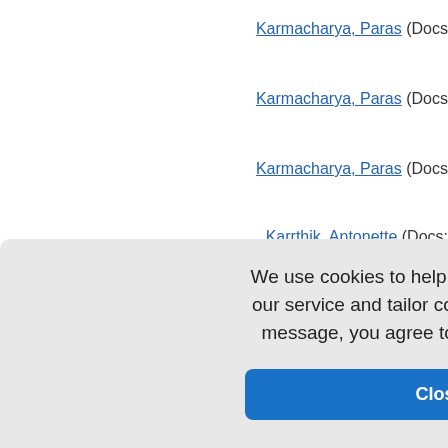Karmacharya, Paras (Docs:
Karmacharya, Paras (Docs:
Karmacharya, Paras (Docs:
Karrthik, Antonette (Docs:
Kasanagottu, Anoosha (Do
Kassis, Nicholas (Docs: 1)
(Docs: 1)
(Docs: 1)
cs: 4)
We use cookies to help provide and enhance our service and tailor content. By closing this message, you agree to the use of cookies.